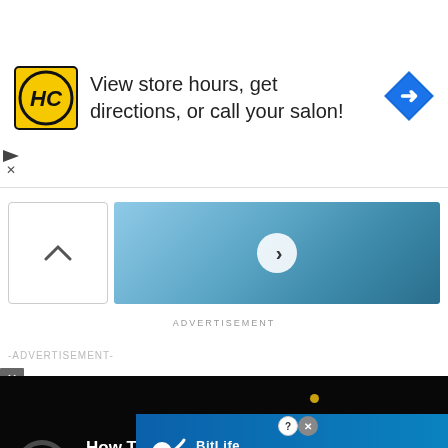[Figure (screenshot): Top advertisement banner for Hair Club (HC) with yellow logo, text 'View store hours, get directions, or call your salon!' and a blue navigation arrow icon on the right]
[Figure (screenshot): Carousel image strip showing a blue/teal textured background with a white circular next-button (chevron right) in the center, and an up-arrow collapse button on the left]
ADVERTISEMENT
-ADVERTISEMENT-
[Figure (screenshot): Dark video player overlay showing a ring/circle icon on the left and a gold dot, with white bold text: 'How To Open 7 Chakras - Meditation and Healing - SunSigns.Org']
benefit of others. Follow the angels for your proper guidance ... y will move ... r heart
[Figure (screenshot): BitLife advertisement banner with blue gradient background, sperm logo, text 'NOW WITH GOD MODE' in bold yellow/gold, and a pointing hand graphic on the right with help/close buttons]